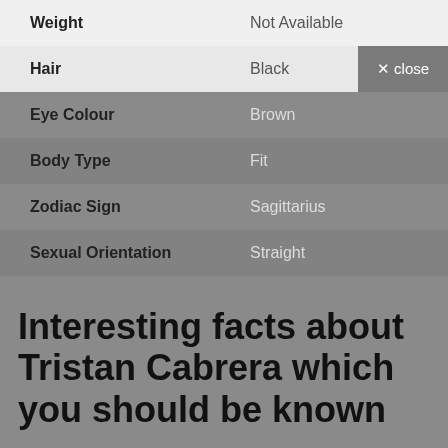| Attribute | Value |
| --- | --- |
| Weight | Not Available |
| Hair | Black |
| Eye Colour | Brown |
| Body Type | Fit |
| Zodiac Sign | Sagittarius |
| Sexual Orientation | Straight |
Interesting facts about Tristan Cabrera which you should be known
| Attribute | Value |
| --- | --- |
| Nationality | Filipino |
| Ethnicity | Filipino |